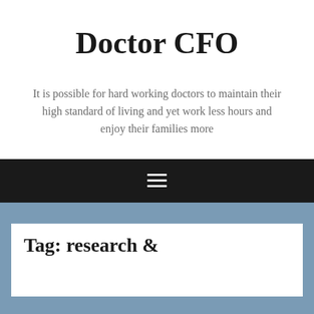Doctor CFO
It is possible for hard working doctors to maintain their high standard of living and yet work less hours and enjoy their families more
[Figure (other): Navigation hamburger menu icon (three horizontal white lines on black background)]
Tag: research &